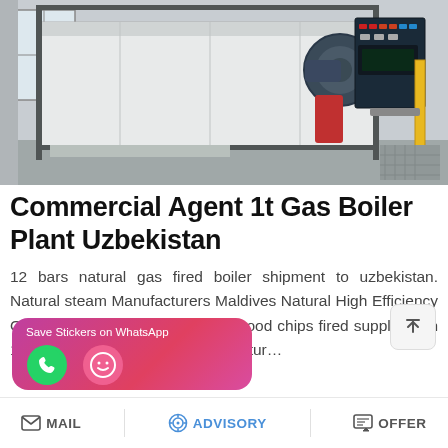[Figure (photo): Industrial gas boiler plant with large white rectangular boiler unit, burner assembly with control panel, red pipe connections, yellow pipe, in an industrial facility with white walls and windows.]
Commercial Agent 1t Gas Boiler Plant Uzbekistan
12 bars natural gas fired boiler shipment to uzbekistan. Natural steam Manufacturers Maldives Natural High Efficiency Oil and and Hot Water Systems wood chips fired supplier Jun 12 2019 · -price Industrial manufactur…
[Figure (screenshot): WhatsApp sticker saver app banner in pink/magenta gradient with text 'Save Stickers on WhatsApp' and two app icons (green WhatsApp icon and pink emoji icon).]
MAIL   ADVISORY   OFFER